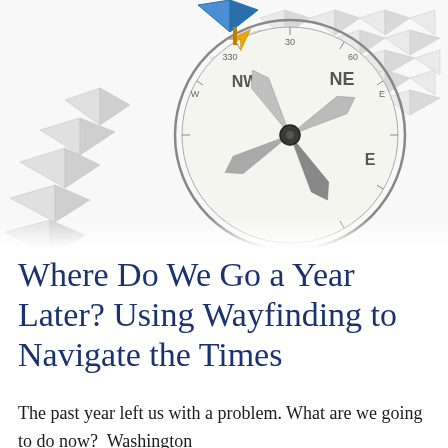[Figure (illustration): A compass with NE, NW, E directions visible and a golden arrow pointing northeast, surrounded by many white paper boats/origami boats arranged in rows, with one blue paper boat in the upper area standing out.]
Where Do We Go a Year Later? Using Wayfinding to Navigate the Times
The past year left us with a problem. What are we going to do now?  Washington